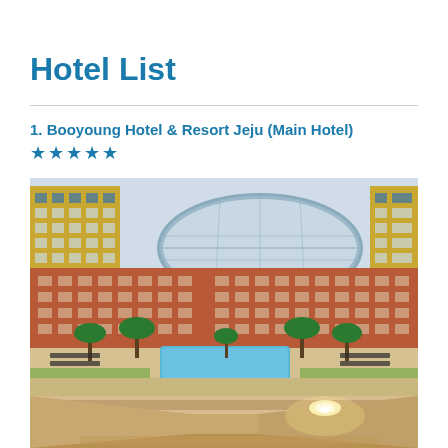Hotel List
1. Booyoung Hotel & Resort Jeju (Main Hotel) ★★★★★
[Figure (photo): Aerial/elevated view of Booyoung Hotel & Resort Jeju showing a large terracotta/red-brick hotel building with multiple wings, an outdoor pool surrounded by palm trees and lounge chairs, and a curved glass dome structure in the background. Blue sky.]
[Figure (photo): Interior shot of Booyoung Hotel & Resort Jeju showing a lobby or corridor with warm beige/cream tones and a ceiling light.]